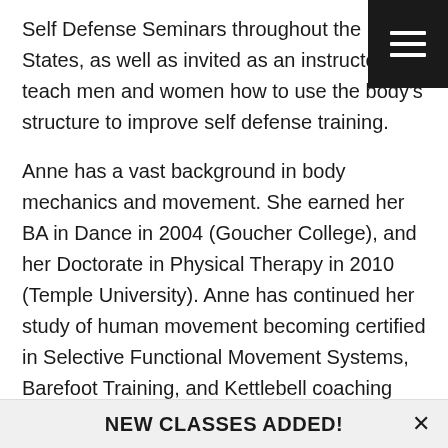Self Defense Seminars throughout the United States, as well as invited as an instructor to teach men and women how to use the body's structure to improve self defense training.
Anne has a vast background in body mechanics and movement. She earned her BA in Dance in 2004 (Goucher College), and her Doctorate in Physical Therapy in 2010 (Temple University). Anne has continued her study of human movement becoming certified in Selective Functional Movement Systems, Barefoot Training, and Kettlebell coaching through Strong First.
Beyond teaching Women's Self Protection, Anne assists local law enforcement and military with scenario based training, practices Physical Therapy, and facilitates
NEW CLASSES ADDED!